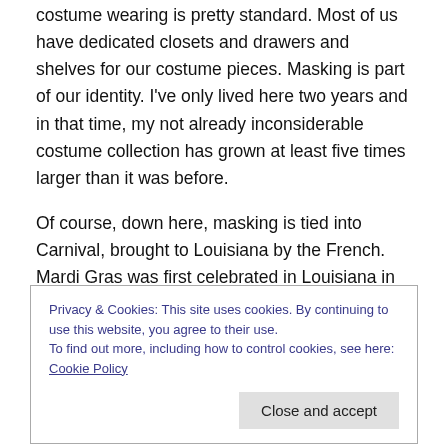costume wearing is pretty standard. Most of us have dedicated closets and drawers and shelves for our costume pieces. Masking is part of our identity. I've only lived here two years and in that time, my not already inconsiderable costume collection has grown at least five times larger than it was before.
Of course, down here, masking is tied into Carnival, brought to Louisiana by the French. Mardi Gras was first celebrated in Louisiana in 1699  and other than a few years here and there, the tradition has continued ever
Privacy & Cookies: This site uses cookies. By continuing to use this website, you agree to their use.
To find out more, including how to control cookies, see here: Cookie Policy
Close and accept
entire season.